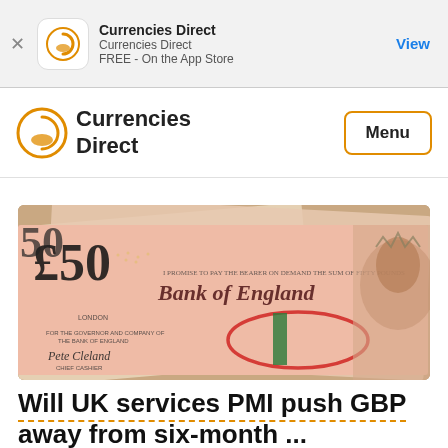Currencies Direct
Currencies Direct
FREE - On the App Store
View
[Figure (logo): Currencies Direct logo with orange circle icon and bold text]
Menu
[Figure (photo): Close-up photograph of UK £50 Bank of England banknotes showing the denomination, Bank of England text, and Queen Elizabeth II portrait]
Will UK services PMI push GBP away from six-month ...